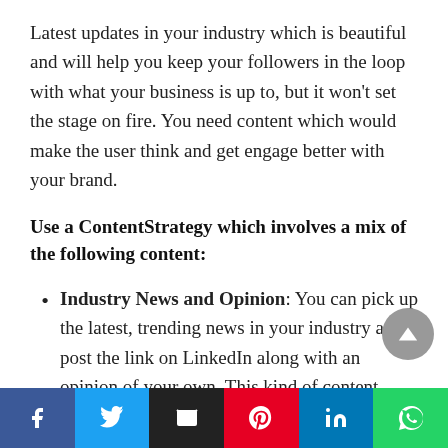Latest updates in your industry which is beautiful and will help you keep your followers in the loop with what your business is up to, but it won't set the stage on fire. You need content which would make the user think and get engage better with your brand.
Use a ContentStrategy which involves a mix of the following content:
Industry News and Opinion: You can pick up the latest, trending news in your industry and post the link on LinkedIn along with an opinion of your own. This kind of content portrays you as someone who understands the industry and has